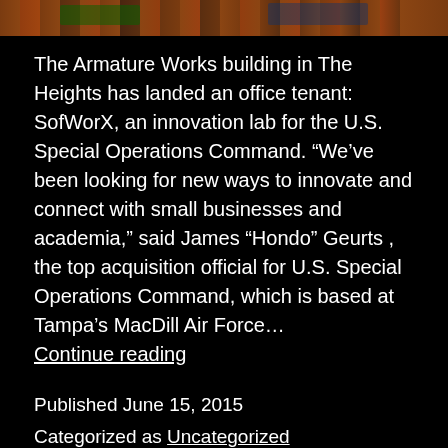[Figure (photo): Top strip showing the Armature Works building exterior in The Heights, brick facade visible]
The Armature Works building in The Heights has landed an office tenant: SofWorX, an innovation lab for the U.S. Special Operations Command. “We’ve been looking for new ways to innovate and connect with small businesses and academia,” said James “Hondo” Geurts , the top acquisition official for U.S. Special Operations Command, which is based at Tampa’s MacDill Air Force… Continue reading
Published June 15, 2015
Categorized as Uncategorized